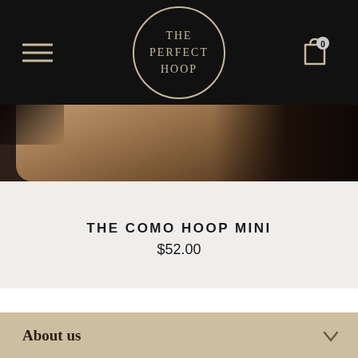[Figure (logo): The Perfect Hoop logo — circular border with text THE PERFECT HOOP on black background header]
[Figure (photo): Close-up photo of a person's neck/ear area wearing hoop earrings, with dark hair visible]
THE COMO HOOP MINI
$52.00
About us
Main Menu